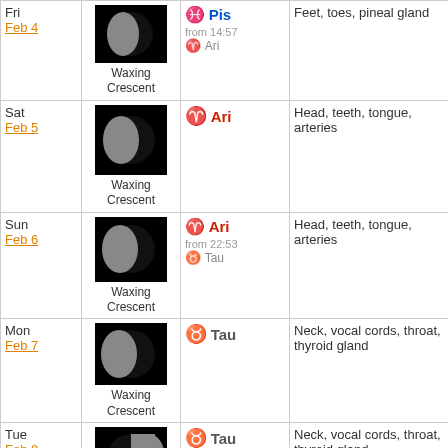| Day | Moon Phase | Zodiac Sign | Body Parts |  |
| --- | --- | --- | --- | --- |
| Fri Feb 4 | Waxing Crescent | Pis / from 14:57 Ari | Feet, toes, pineal gland | - |
| Sat Feb 5 | Waxing Crescent | Ari | Head, teeth, tongue, arteries | - |
| Sun Feb 6 | Waxing Crescent | Ari / from 22:53 Tau | Head, teeth, tongue, arteries | - |
| Mon Feb 7 | Waxing Crescent | Tau | Neck, vocal cords, throat, thyroid gland | - |
| Tue Feb 8 | First Quarter | Tau | Neck, vocal cords, throat, thyroid gland | - |
| Wed Feb 9 | Waxing Gibbous | from 10:27 Gem | Shoulders, arms, hands, bronchial tubes, lungs | - |